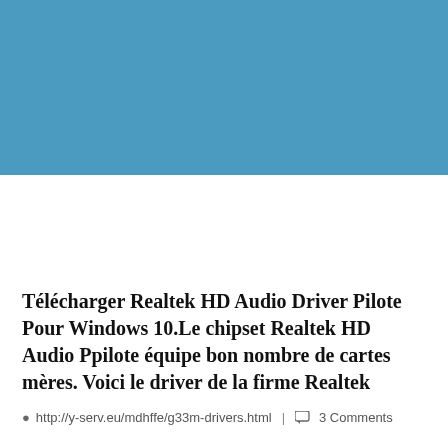[Figure (photo): Blue banner header background at top of webpage]
Search Here
Télécharger Realtek HD Audio Driver Pilote Pour Windows 10.Le chipset Realtek HD Audio Ppilote équipe bon nombre de cartes mères. Voici le driver de la firme Realtek
http://y-serv.eu/mdhffe/g33m-drivers.html  |  3 Comments